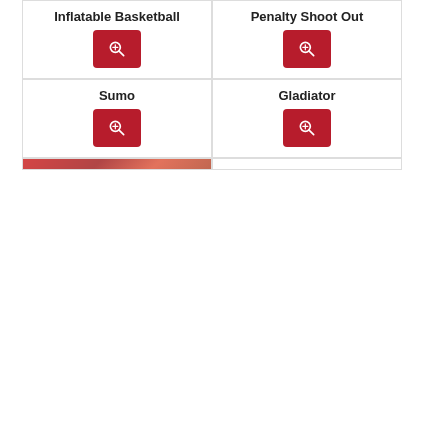[Figure (other): Inflatable Basketball product card with search/zoom button]
[Figure (other): Penalty Shoot Out product card with search/zoom button]
[Figure (other): Sumo product card with search/zoom button]
[Figure (other): Gladiator product card with search/zoom button]
[Figure (photo): Partial photo card at bottom left showing red inflatable]
[Figure (other): Partial empty card at bottom right]